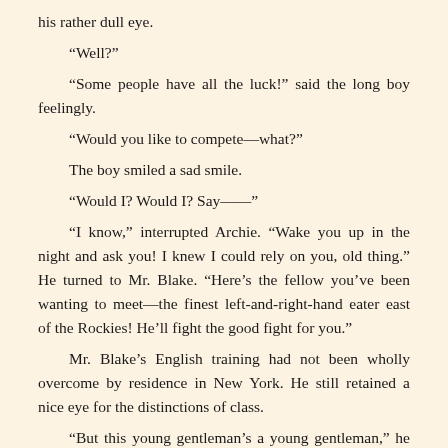his rather dull eye.
“Well?”
“Some people have all the luck!” said the long boy feelingly.
“Would you like to compete—what?”
The boy smiled a sad smile.
“Would I? Would I? Say——”
“I know,” interrupted Archie. “Wake you up in the night and ask you! I knew I could rely on you, old thing.” He turned to Mr. Blake. “Here’s the fellow you’ve been wanting to meet—the finest left-and-right-hand eater east of the Rockies! He’ll fight the good fight for you.”
Mr. Blake’s English training had not been wholly overcome by residence in New York. He still retained a nice eye for the distinctions of class.
“But this young gentleman’s a young gentleman,” he urged doubtfully, yet with hope shining in his eye. “He